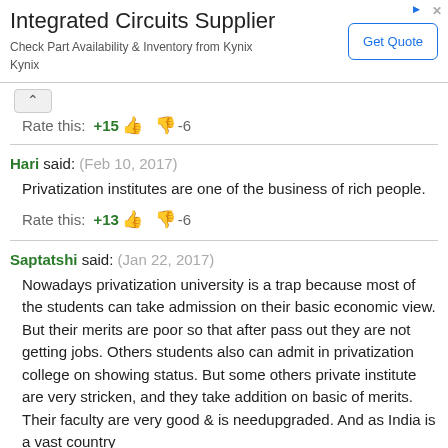[Figure (other): Advertisement banner for Integrated Circuits Supplier - Kynix, with Get Quote button]
Rate this: +15 👍 👎 -6
Hari said: (Feb 10, 2017)
Privatization institutes are one of the business of rich people.
Rate this: +13 👍 👎 -6
Saptatshi said: (Jan 22, 2017)
Nowadays privatization university is a trap because most of the students can take admission on their basic economic view. But their merits are poor so that after pass out they are not getting jobs. Others students also can admit in privatization college on showing status. But some others private institute are very stricken, and they take addition on basic of merits. Their faculty are very good & is needupgraded. And as India is a vast country